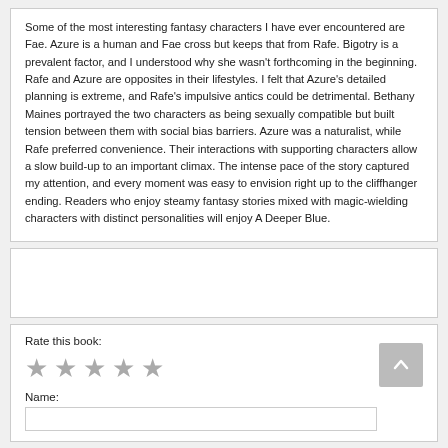Some of the most interesting fantasy characters I have ever encountered are Fae. Azure is a human and Fae cross but keeps that from Rafe. Bigotry is a prevalent factor, and I understood why she wasn't forthcoming in the beginning. Rafe and Azure are opposites in their lifestyles. I felt that Azure's detailed planning is extreme, and Rafe's impulsive antics could be detrimental. Bethany Maines portrayed the two characters as being sexually compatible but built tension between them with social bias barriers. Azure was a naturalist, while Rafe preferred convenience. Their interactions with supporting characters allow a slow build-up to an important climax. The intense pace of the story captured my attention, and every moment was easy to envision right up to the cliffhanger ending. Readers who enjoy steamy fantasy stories mixed with magic-wielding characters with distinct personalities will enjoy A Deeper Blue.
Rate this book:
Name: